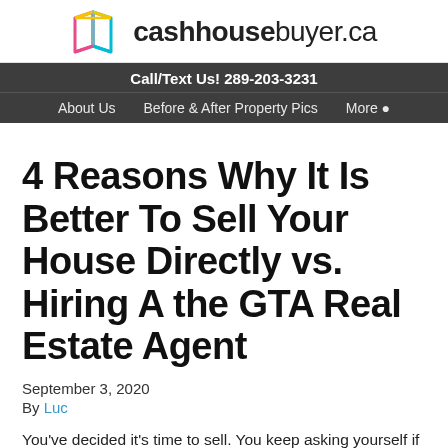cashhousebuyer.ca
Call/Text Us! 289-203-3231
About Us   Before & After Property Pics   More
4 Reasons Why It Is Better To Sell Your House Directly vs. Hiring A the GTA Real Estate Agent
September 3, 2020
By Luc
You've decided it's time to sell. You keep asking yourself if you should hire an agent to sell your house in the GTA,